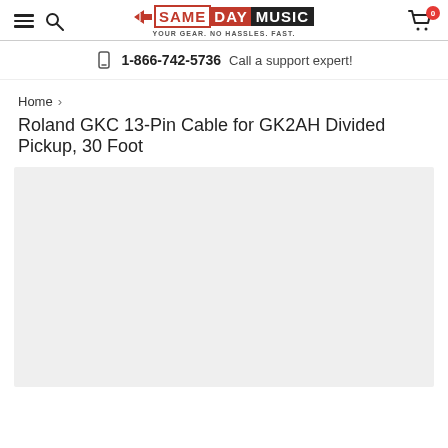[Figure (logo): Same Day Music logo with tagline YOUR GEAR. NO HASSLES. FAST.]
1-866-742-5736  Call a support expert!
Home > Roland GKC 13-Pin Cable for GK2AH Divided Pickup, 30 Foot
Roland GKC 13-Pin Cable for GK2AH Divided Pickup, 30 Foot
[Figure (photo): Product image placeholder (light gray box)]